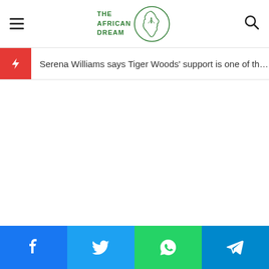[Figure (logo): The African Dream logo with circular Africa map outline and green text]
Serena Williams says Tiger Woods' support is one of the mai..._
[Figure (infographic): Social share buttons: Facebook, Twitter, WhatsApp, Telegram]